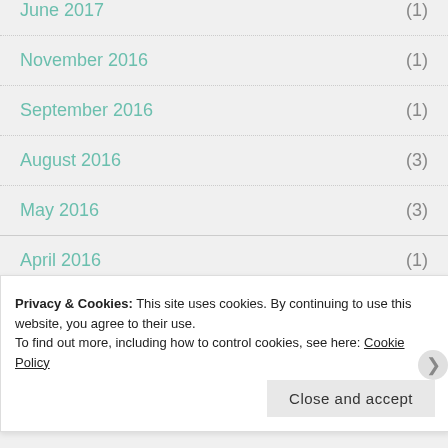June 2017 (1)
November 2016 (1)
September 2016 (1)
August 2016 (3)
May 2016 (3)
April 2016 (1)
March 2016 (1)
February 2016 (2)
Privacy & Cookies: This site uses cookies. By continuing to use this website, you agree to their use.
To find out more, including how to control cookies, see here: Cookie Policy
Close and accept